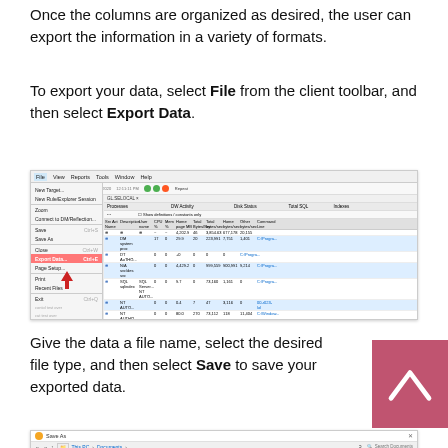Once the columns are organized as desired, the user can export the information in a variety of formats.
To export your data, select File from the client toolbar, and then select Export Data.
[Figure (screenshot): Screenshot of a software client showing the File menu open with 'Export Data' menu item highlighted in red, with a table of process/activity data visible in the background.]
Give the data a file name, select the desired file type, and then select Save to save your exported data.
[Figure (screenshot): Screenshot of a Windows 'Save As' dialog box showing Documents folder with files including Custom Office Templates, Excel Data, My Projects, Offline License Keys, and DWAIT Database Components.]